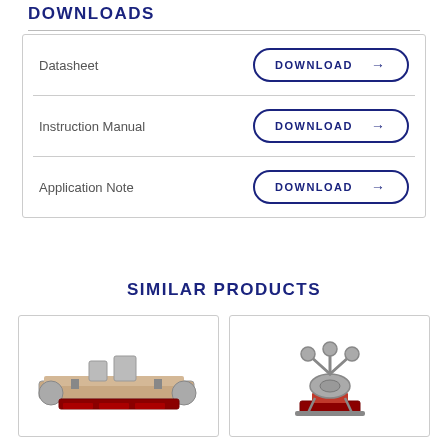DOWNLOADS
Datasheet  DOWNLOAD →
Instruction Manual  DOWNLOAD →
Application Note  DOWNLOAD →
SIMILAR PRODUCTS
[Figure (photo): Industrial conveyor/feeder machine photo on left product card]
[Figure (photo): Industrial roller/pulley equipment photo on right product card]